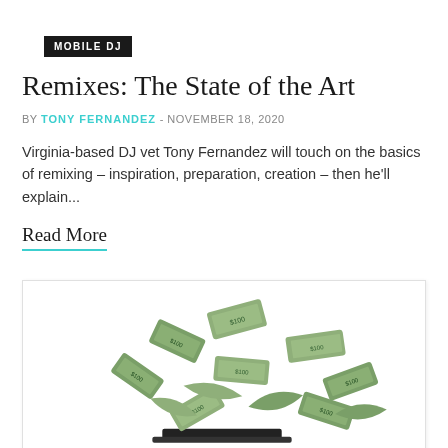MOBILE DJ
Remixes: The State of the Art
BY TONY FERNANDEZ - NOVEMBER 18, 2020
Virginia-based DJ vet Tony Fernandez will touch on the basics of remixing – inspiration, preparation, creation – then he'll explain...
Read More
[Figure (illustration): Flying dollar bills scattered in the air above what appears to be a laptop or device, illustrated in a photorealistic style.]